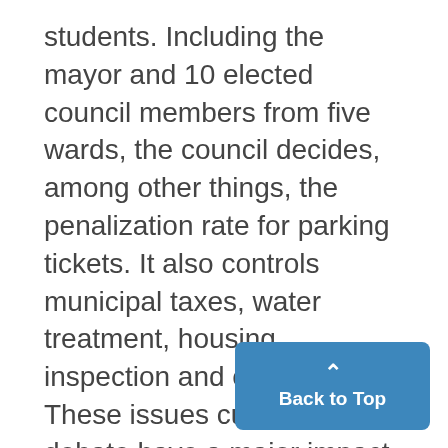students. Including the mayor and 10 elected council members from five wards, the council decides, among other things, the penalization rate for parking tickets. It also controls municipal taxes, water treatment, housing inspection and city zoning. These issues currently under debate have a major impact on students living in Ann Arbor. A strong voter turnout from the University community could significantly impact the elections and subsequently the operations of the c… Among those running for a sea…
[Figure (other): Back to Top button — a blue rounded rectangle with an upward caret arrow and the text 'Back to Top']